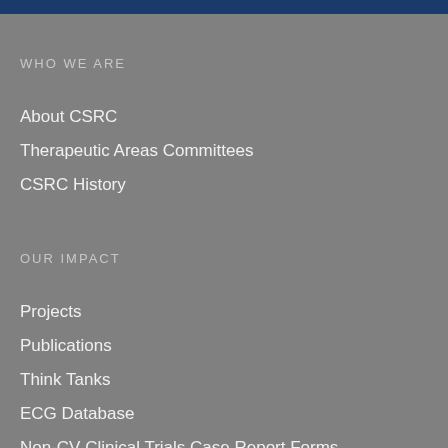WHO WE ARE
About CSRC
Therapeutic Areas Committees
CSRC History
OUR IMPACT
Projects
Publications
Think Tanks
ECG Database
Non-CV Clinical Trials Case Report Forms